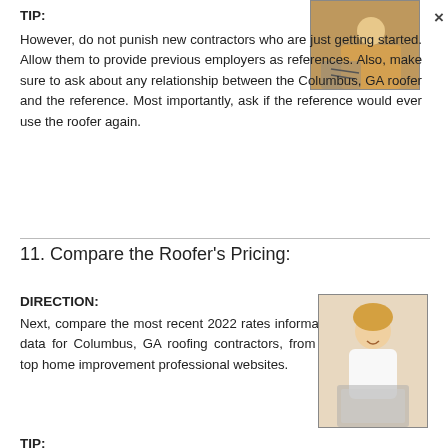TIP:
[Figure (photo): Person writing or working, close-up, warm tones]
However, do not punish new contractors who are just getting started. Allow them to provide previous employers as references. Also, make sure to ask about any relationship between the Columbus, GA roofer and the reference. Most importantly, ask if the reference would ever use the roofer again.
11. Compare the Roofer's Pricing:
DIRECTION:
Next, compare the most recent 2022 rates information data for Columbus, GA roofing contractors, from the top home improvement professional websites.
[Figure (photo): Smiling woman with laptop, professional setting]
TIP: